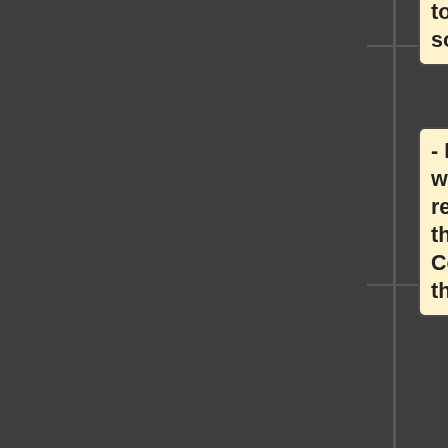to launch when sold.
- Replace 'id' with a number representing the ID of the Common Event that
you wish to launch upon this item being sold.
- The "Once" notetag variant will only occur once when sold.
- Any subsequent sellings of the